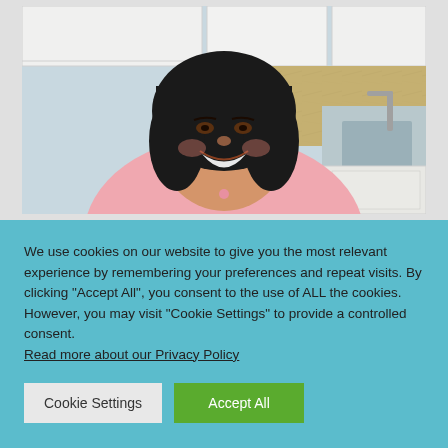[Figure (photo): A smiling woman with dark bob-cut hair wearing a pink chef's coat or uniform, seated in a kitchen with white cabinets, golden tile backsplash, and a stainless steel sink visible in the background.]
We use cookies on our website to give you the most relevant experience by remembering your preferences and repeat visits. By clicking “Accept All”, you consent to the use of ALL the cookies. However, you may visit "Cookie Settings" to provide a controlled consent.
Read more about our Privacy Policy
Cookie Settings
Accept All